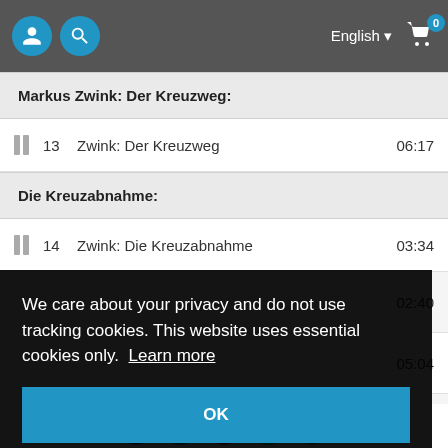Navigation bar with user icon, search icon, English language selector, and cart (0)
Markus Zwink: Der Kreuzweg:
13  Zwink: Der Kreuzweg  06:17
Die Kreuzabnahme:
14  Zwink: Die Kreuzabnahme  03:34
02:40
05:04
:19:38
We care about your privacy and do not use tracking cookies. This website uses essential cookies only.  Learn more
OK